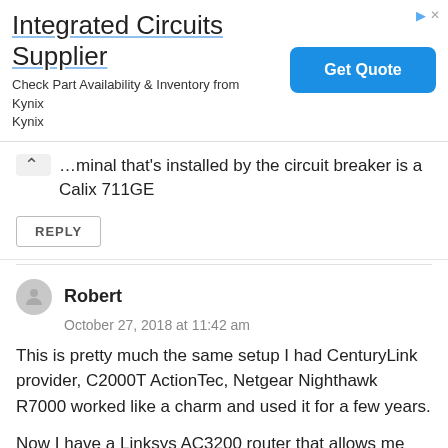[Figure (other): Advertisement banner for 'Integrated Circuits Supplier' by Kynix. Shows title text, subtitle 'Check Part Availability & Inventory from Kynix Kynix', and a blue 'Get Quote' button.]
...minal that's installed by the circuit breaker is a Calix 711GE
REPLY
Robert
October 27, 2018 at 11:42 am
This is pretty much the same setup I had CenturyLink provider, C2000T ActionTec, Netgear Nighthawk R7000 worked like a charm and used it for a few years.
Now I have a Linksys AC3200 router that allows me